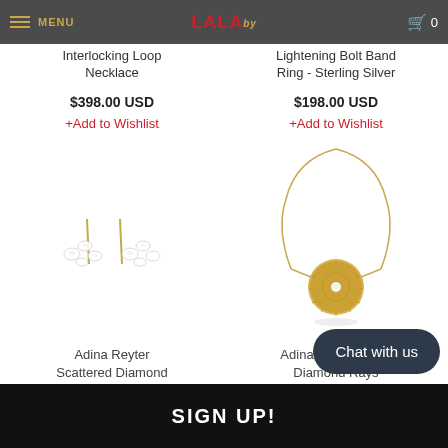MENU | LALA | 0
Interlocking Loop Necklace
$398.00 USD
+Add to Wishlist
Lightening Bolt Band Ring - Sterling Silver
$198.00 USD
+Add to Wishlist
[Figure (photo): Adina Reyter Scattered Diamond Posts earrings - pair of small diamond cluster stud earrings in gold]
[Figure (photo): Adina Reyter Small Diamond Rays Pendant - gold chain necklace with circular sunburst pendant]
Adina Reyter Scattered Diamond Posts
$625.00 USD
Adina Reyter Small Diamond Rays Pendant
$728.00 USD
+Add to Wishlist
Chat with us
SIGN UP!